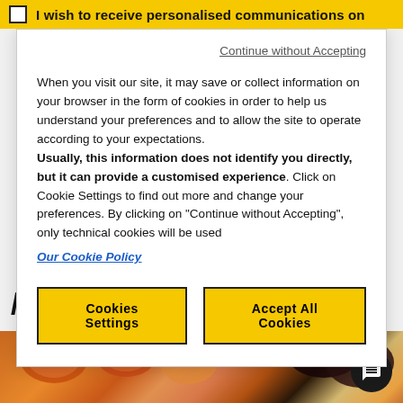I wish to receive personalised communications on
Continue without Accepting
When you visit our site, it may save or collect information on your browser in the form of cookies in order to help us understand your preferences and to allow the site to operate according to your expectations. Usually, this information does not identify you directly, but it can provide a customised experience. Click on Cookie Settings to find out more and change your preferences. By clicking on "Continue without Accepting", only technical cookies will be used
Our Cookie Policy
Cookies Settings
Accept All Cookies
/related post
[Figure (photo): Close-up photo of mixed dried fruits and nuts including dried apricots, raisins, hazelnuts, and cashews]